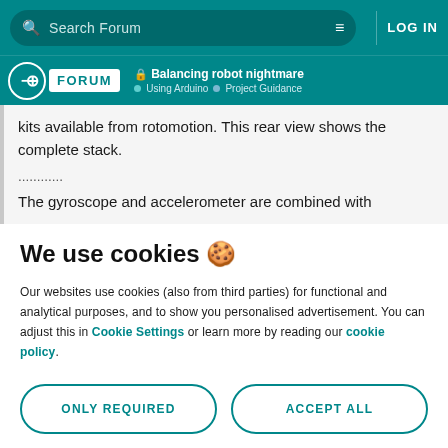Search Forum | LOG IN
🔒 Balancing robot nightmare · Using Arduino · Project Guidance
kits available from rotomotion. This rear view shows the complete stack.
............
The gyroscope and accelerometer are combined with
We use cookies 🍪
Our websites use cookies (also from third parties) for functional and analytical purposes, and to show you personalised advertisement. You can adjust this in Cookie Settings or learn more by reading our cookie policy.
ONLY REQUIRED
ACCEPT ALL